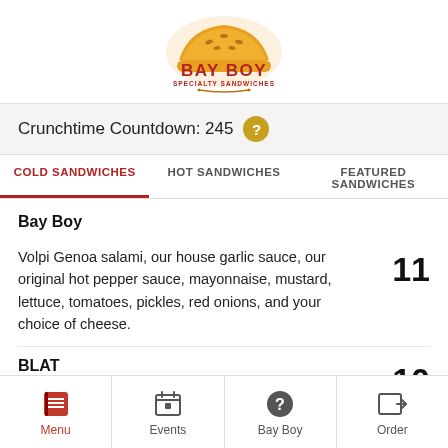[Figure (logo): Bay Boy Specialty Sandwiches logo with golden bread illustration and red text]
Crunchtime Countdown: 245
COLD SANDWICHES | HOT SANDWICHES | FEATURED SANDWICHES
Bay Boy
Volpi Genoa salami, our house garlic sauce, our original hot pepper sauce, mayonnaise, mustard, lettuce, tomatoes, pickles, red onions, and your choice of cheese.
11
BLAT
Nothing says hello outside weather like bacon and
10
Menu | Events | Bay Boy | Order